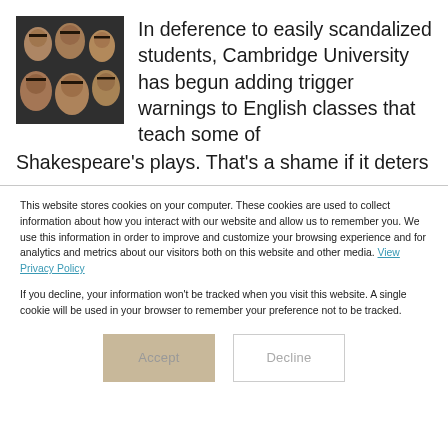[Figure (photo): People holding Shakespeare face masks/cutouts in a crowd]
In deference to easily scandalized students, Cambridge University has begun adding trigger warnings to English classes that teach some of Shakespeare's plays. That's a shame if it deters
This website stores cookies on your computer. These cookies are used to collect information about how you interact with our website and allow us to remember you. We use this information in order to improve and customize your browsing experience and for analytics and metrics about our visitors both on this website and other media. View Privacy Policy
If you decline, your information won't be tracked when you visit this website. A single cookie will be used in your browser to remember your preference not to be tracked.